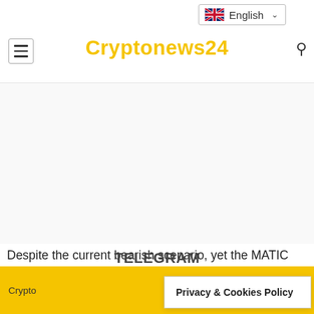Cryptonews24
[Figure (other): Advertisement area (blank white space)]
Despite the current bearish scenario, yet the MATIC price remains bullish as the asset is trending within a decent ascending parallel channel. Luckily, the asset flies much above the
TELEGRAM
Crypto
Privacy & Cookies Policy